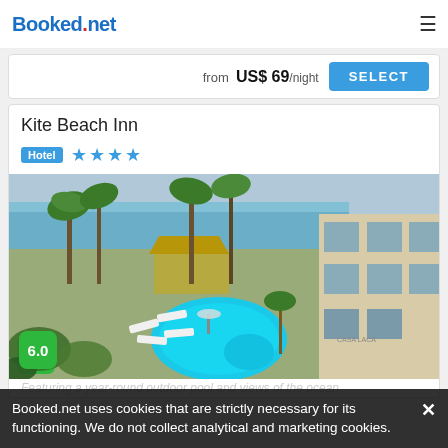Booked.net
from US$ 69/night SELECT
Kite Beach Inn
Hotel ★★★★
[Figure (photo): Aerial/overhead view of Kite Beach Inn showing outdoor pool, lounge chairs, palm trees, thatched-roof bar/restaurant, ocean in background, and a multi-story building on the right labeled Casa Laca]
6.0
Booked.net uses cookies that are strictly necessary for its functioning. We do not collect analytical and marketing cookies.
Featuring a year-round outdoor pool and views of the ocean